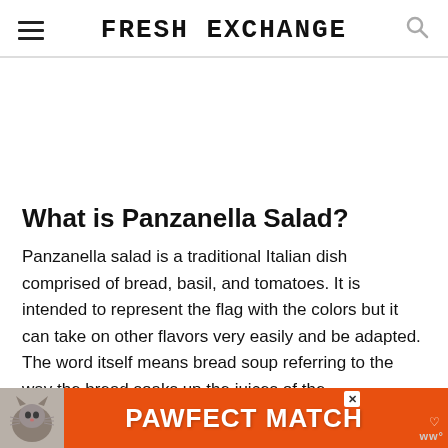FRESH EXCHANGE
What is Panzanella Salad?
Panzanella salad is a traditional Italian dish comprised of bread, basil, and tomatoes. It is intended to represent the flag with the colors but it can take on other flavors very easily and be adapted. The word itself means bread soup referring to the way the bread soaks up the juices of the to…
[Figure (other): Advertisement banner at the bottom: orange background with cat image on left and text 'PAWFECT MATCH' in white bold letters, with a small close button and heart icon.]